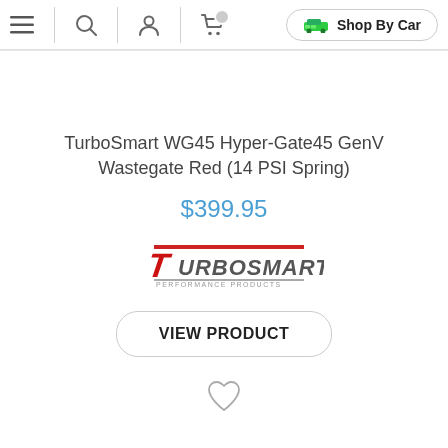Navigation bar with menu, search, account, cart icons and Shop By Car button
TurboSmart WG45 Hyper-Gate45 GenV Wastegate Red (14 PSI Spring)
$399.95
[Figure (logo): TurboSmart Performance Products logo with stylized italic text and red/blue color scheme]
VIEW PRODUCT
[Figure (illustration): Heart/wishlist outline icon]